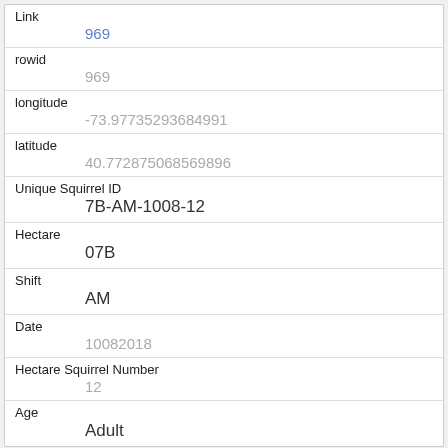| Field | Value |
| --- | --- |
| Link | 969 |
| rowid | 969 |
| longitude | -73.97735293684991 |
| latitude | 40.772875068569896 |
| Unique Squirrel ID | 7B-AM-1008-12 |
| Hectare | 07B |
| Shift | AM |
| Date | 10082018 |
| Hectare Squirrel Number | 12 |
| Age | Adult |